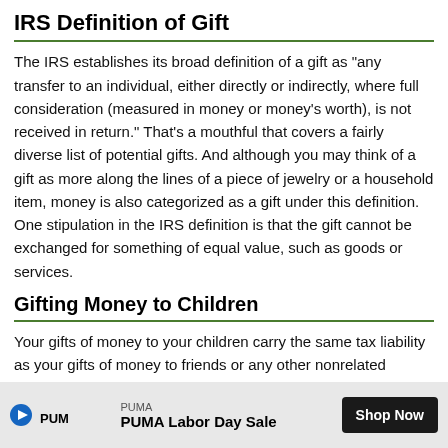IRS Definition of Gift
The IRS establishes its broad definition of a gift as "any transfer to an individual, either directly or indirectly, where full consideration (measured in money or money's worth), is not received in return." That's a mouthful that covers a fairly diverse list of potential gifts. And although you may think of a gift as more along the lines of a piece of jewelry or a household item, money is also categorized as a gift under this definition. One stipulation in the IRS definition is that the gift cannot be exchanged for something of equal value, such as goods or services.
Gifting Money to Children
Your gifts of money to your children carry the same tax liability as your gifts of money to friends or any other nonrelated persons. Children are not covered by any exclusive tax law that results in a greater or lesser tax benefit for the monetary gifts you give. So you won't ha… of a qualifying… child is